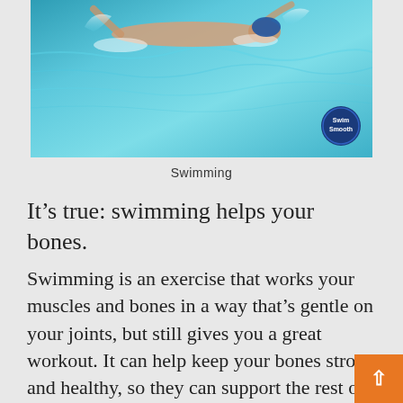[Figure (photo): A swimmer doing freestyle stroke in a blue pool, with a circular blue logo badge in the bottom right corner of the image]
Swimming
It’s true: swimming helps your bones.
Swimming is an exercise that works your muscles and bones in a way that’s gentle on your joints, but still gives you a great workout. It can help keep your bones strong and healthy, so they can support the rest of your body as you get older.